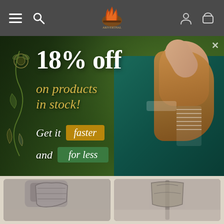Navigation bar with hamburger menu, search icon, logo, user icon, and cart icon
[Figure (illustration): Promotional banner: woman in teal dress with text '18% off on products in stock! Get it faster and for less']
18% off
on products in stock!
Get it faster and for less
[Figure (photo): Product image 1: close-up of chainmail/armor gauntlet]
[Figure (photo): Product image 2: medieval weapon or armor piece on stand]